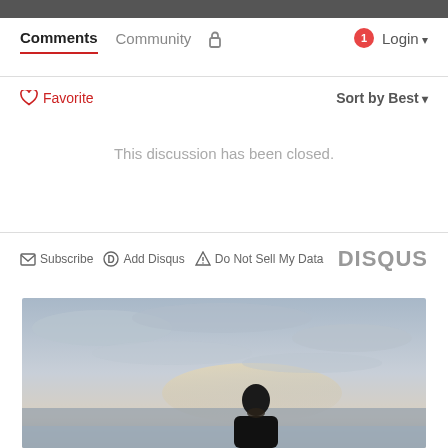[Figure (screenshot): Dark grey top bar]
Comments   Community   🔒        🔴1   Login ▾
♡ Favorite
Sort by Best ▾
This discussion has been closed.
✉ Subscribe   D Add Disqus   ⚠ Do Not Sell My Data   DISQUS
[Figure (photo): Outdoor photo of a bald bearded man standing in front of a winter landscape with a city and water in the background under a cloudy sky with pale sunset light]